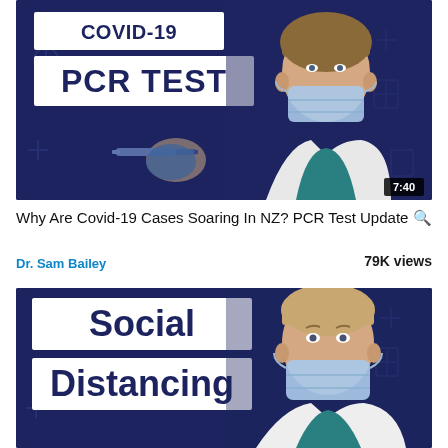[Figure (screenshot): YouTube video thumbnail showing COVID-19 PCR TEST text on white boxes over a dark navy background with medical icons. A woman wearing a teal outfit and blue surgical mask appears on the right side. Duration badge shows 7:40.]
Why Are Covid-19 Cases Soaring In NZ? PCR Test Update 🔍
Dr. Sam Bailey
79K views
[Figure (screenshot): YouTube video thumbnail showing 'Social Distancing' text on white boxes over a dark navy background with a woman wearing a white jacket, teal top, and blue surgical mask on the right side.]